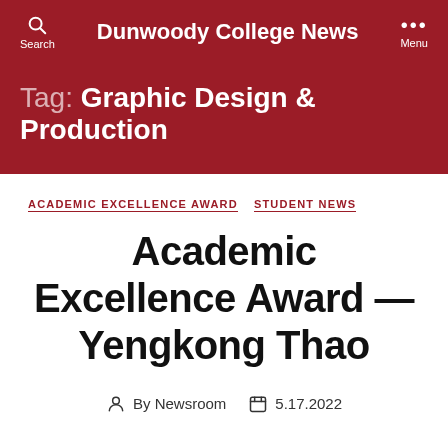Dunwoody College News
Tag: Graphic Design & Production
ACADEMIC EXCELLENCE AWARD   STUDENT NEWS
Academic Excellence Award — Yengkong Thao
By Newsroom   5.17.2022